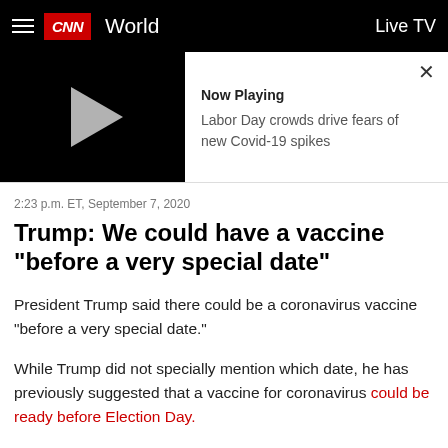CNN World  Live TV
[Figure (screenshot): Video thumbnail with play button showing black background and gray play triangle, with 'Now Playing' panel showing title 'Labor Day crowds drive fears of new Covid-19 spikes' and a close X button]
2:23 p.m. ET, September 7, 2020
Trump: We could have a vaccine "before a very special date"
President Trump said there could be a coronavirus vaccine "before a very special date."
While Trump did not specially mention which date, he has previously suggested that a vaccine for coronavirus could be ready before Election Day.
"President Trump is getting this vaccine in record time. Be there, and if there are the 3 he suggested, he let the...